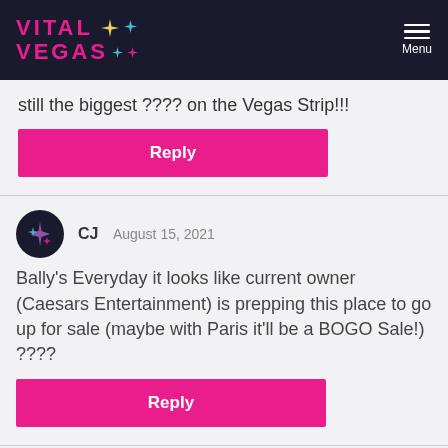VITAL VEGAS Menu
still the biggest ???? on the Vegas Strip!!!
Reply
CJ  August 15, 2021
Bally’s Everyday it looks like current owner (Caesars Entertainment) is prepping this place to go up for sale (maybe with Paris it’ll be a BOGO Sale!) ????
Reply